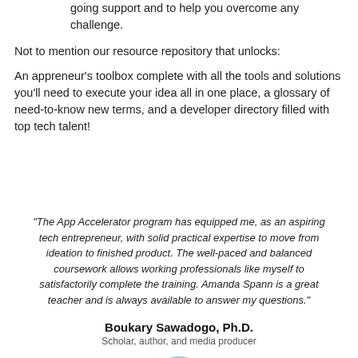going support and to help you overcome any challenge.
Not to mention our resource repository that unlocks:
An appreneur's toolbox complete with all the tools and solutions you'll need to execute your idea all in one place, a glossary of need-to-know new terms, and a developer directory filled with top tech talent!
"The App Accelerator program has equipped me, as an aspiring tech entrepreneur, with solid practical expertise to move from ideation to finished product. The well-paced and balanced coursework allows working professionals like myself to satisfactorily complete the training. Amanda Spann is a great teacher and is always available to answer my questions."
Boukary Sawadogo, Ph.D.
Scholar, author, and media producer
[Figure (photo): Circular headshot photo of Boukary Sawadogo, Ph.D.]